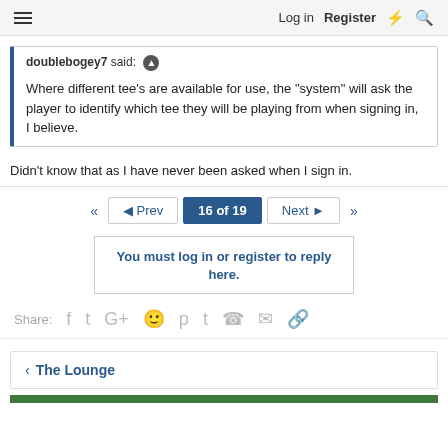Log in  Register
doublebogey7 said: ↑

Where different tee's are available for use, the "system" will ask the player to identify which tee they will be playing from when signing in, I believe.
Didn't know that as I have never been asked when I sign in.
◄◄  ◄ Prev  16 of 19  Next ►  ►►
You must log in or register to reply here.
Share:
‹ The Lounge